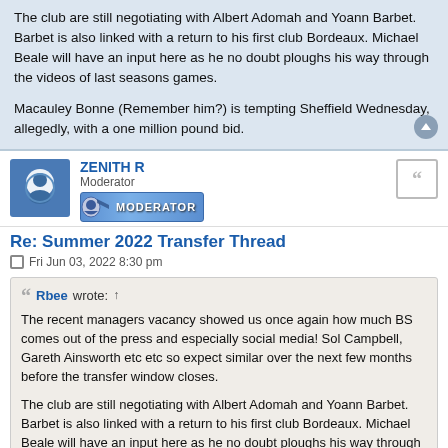The club are still negotiating with Albert Adomah and Yoann Barbet. Barbet is also linked with a return to his first club Bordeaux. Michael Beale will have an input here as he no doubt ploughs his way through the videos of last seasons games.
Macauley Bonne (Remember him?) is tempting Sheffield Wednesday, allegedly, with a one million pound bid.
ZENITH R — Moderator
Re: Summer 2022 Transfer Thread
Fri Jun 03, 2022 8:30 pm
Rbee wrote: ↑ The recent managers vacancy showed us once again how much BS comes out of the press and especially social media! Sol Campbell, Gareth Ainsworth etc etc so expect similar over the next few months before the transfer window closes.

The club are still negotiating with Albert Adomah and Yoann Barbet. Barbet is also linked with a return to his first club Bordeaux. Michael Beale will have an input here as he no doubt ploughs his way through